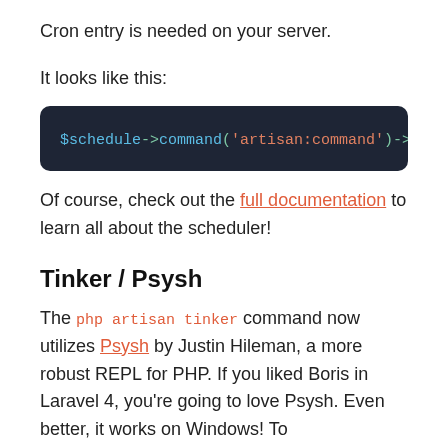Cron entry is needed on your server.
It looks like this:
[Figure (screenshot): Dark code block showing: $schedule->command('artisan:command')->dailyAt]
Of course, check out the full documentation to learn all about the scheduler!
Tinker / Psysh
The php artisan tinker command now utilizes Psysh by Justin Hileman, a more robust REPL for PHP. If you liked Boris in Laravel 4, you're going to love Psysh. Even better, it works on Windows! To